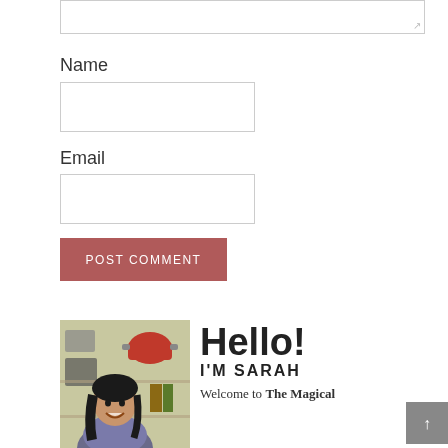[Figure (screenshot): Partial comment textarea input box at top of page]
Name
[Figure (screenshot): Name input text field]
Email
[Figure (screenshot): Email input text field]
[Figure (screenshot): POST COMMENT button in muted red/rose color]
[Figure (photo): Photo of Sarah, a woman with dark hair smiling, standing in front of kitchen shelves]
Hello!
I'M SARAH
Welcome to The Magical